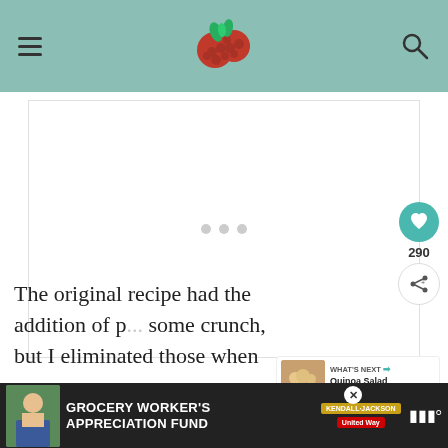Navigation bar with hamburger menu, raspberry logo, and search icon
[Figure (other): Advertisement placeholder with three gray dots centered in white box]
[Figure (other): Heart/favorite button (teal circle with heart icon), count 290, and share button]
[Figure (other): What's Next panel with food thumbnail, label 'WHAT'S NEXT' and title 'Quinoa Salad with Roaste...']
The original recipe had the addition of p... some crunch, but I eliminated those when pa... of whom ha... rds.
[Figure (other): Bottom advertisement banner: Grocery Worker's Appreciation Fund with Kendall-Jackson and United Way logos]